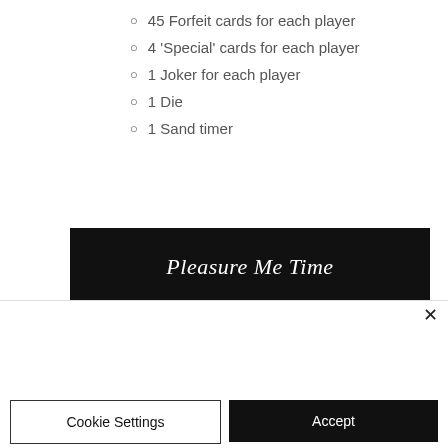45 Forfeit cards for each player
4 'Special' cards for each player
1 Joker for each player
1 Die
1 Sand timer
[Figure (other): Black banner with italic white text reading 'Pleasure Me Time']
We use cookies and similar technologies to enable services and functionality on our site and to understand your interaction with our service. By clicking on accept, you agree to our use of such technologies for marketing and analytics.
Cookie Settings | Accept